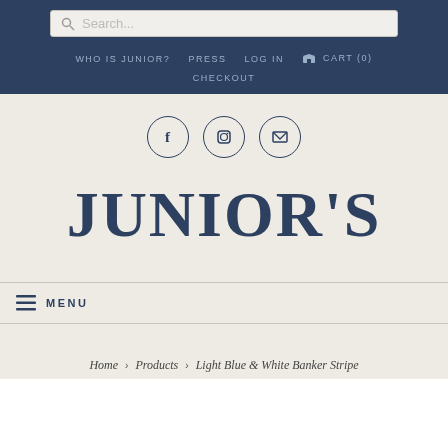Search... | WHO IS JUNIOR? | PRESS | LOG IN | CART (0) | CHECKOUT
[Figure (logo): Social media icons: Facebook, Instagram, Email in circles]
JUNIOR'S
MENU
Home > Products > Light Blue & White Banker Stripe